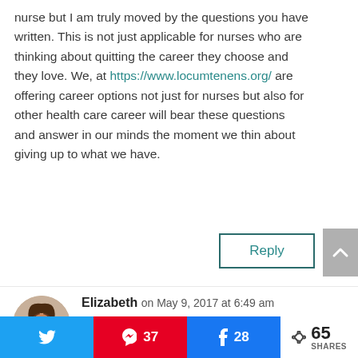nurse but I am truly moved by the questions you have written. This is not just applicable for nurses who are thinking about quitting the career they choose and they love. We, at https://www.locumtenens.org/ are offering career options not just for nurses but also for other health care career will bear these questions and answer in our minds the moment we think about giving up to what we have.
Reply
Elizabeth on May 9, 2017 at 6:49 am
Thanks for the feedback, and the